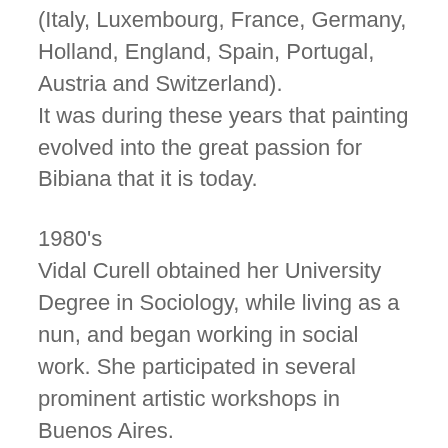(Italy, Luxembourg, France, Germany, Holland, England, Spain, Portugal, Austria and Switzerland). It was during these years that painting evolved into the great passion for Bibiana that it is today.
1980's
Vidal Curell obtained her University Degree in Sociology, while living as a nun, and began working in social work. She participated in several prominent artistic workshops in Buenos Aires.
1990's
Bibiana found herself working in Social Services and living in different provinces. This afforded her the opportunity to sketch and paint a variety of plein air rural scenes and